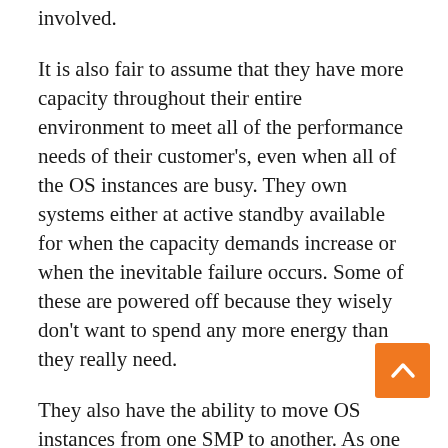involved.
It is also fair to assume that they have more capacity throughout their entire environment to meet all of the performance needs of their customer's, even when all of the OS instances are busy. They own systems either at active standby available for when the capacity demands increase or when the inevitable failure occurs. Some of these are powered off because they wisely don't want to spend any more energy than they really need.
They also have the ability to move OS instances from one SMP to another. As one system's utilization increases into a dangerous zone, they may decide to move even your OS to a less used system. The converse is also true; having many OS instances spread across many underutilized systems naturally suggests coalescing these OSes onto fewer systems, at the very least to save the energy of the now-unused systems